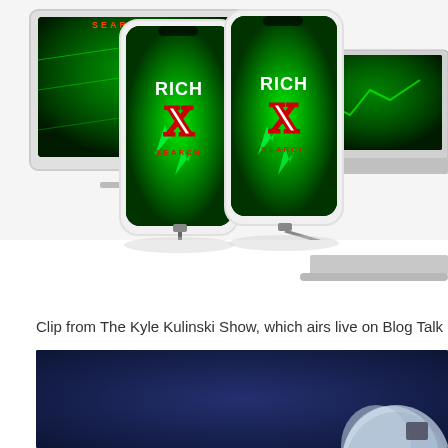[Figure (photo): Marketing image showing multiple smartphones and desktop monitors/laptops displaying the 'Rich X Search' brand logo — white text 'RICH' above a large red and white 'X' letter, with 'SEARCH' beneath, on a neon green glowing background with lightning bolt patterns. Devices are arranged in a product-showcase style on a white reflective surface.]
Clip from The Kyle Kulinski Show, which airs live on Blog Talk Radio and
[Figure (photo): Partial image of a person with light-colored hair seen from behind/side, against a dark navy blue background. The image is cropped at the bottom of the page.]